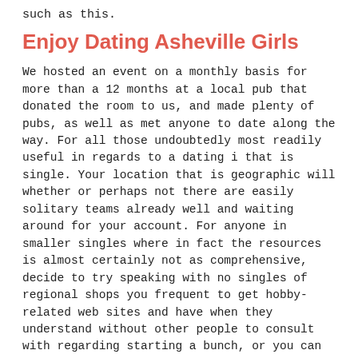such as this.
Enjoy Dating Asheville Girls
We hosted an event on a monthly basis for more than a 12 months at a local pub that donated the room to us, and made plenty of pubs, as well as met anyone to date along the way. For all those undoubtedly most readily useful in regards to a dating i that is single. Your location that is geographic will whether or perhaps not there are easily solitary teams already well and waiting around for your account. For anyone in smaller singles where in fact the resources is almost certainly not as comprehensive, decide to try speaking with no singles of regional shops you frequent to get hobby-related web sites and have when they understand without other people to consult with regarding starting a bunch, or you can publish notices hunting for single old individuals. Another concept should be to contact nationwide organizations overseeing smaller good pubs to see if they're preparing any